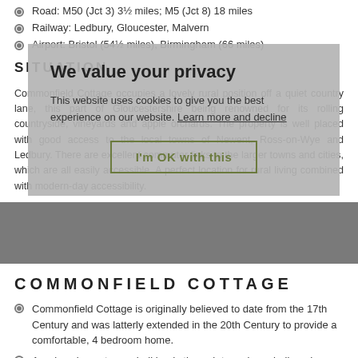Road: M50 (Jct 3) 3½ miles; M5 (Jct 8) 18 miles
Railway: Ledbury, Gloucester, Malvern
Airport: Bristol (54½ miles), Birmingham (66 miles)
SITUATION
Commonfield Cottage occupies a lovely rural position off a quiet country lane, this part of Gloucestershire being renowned for its rolling countryside, vineyards and apple orchards. The property is well placed with good access to the local towns of Newent, Ross-on-Wye and Ledbury. There are excellent commuter links to the larger towns and cities, which are all easily accessible. A perfect location for rural living combined with modern-day accessibility.
[Figure (screenshot): Cookie consent overlay with title 'We value your privacy', body text about cookies, and 'I'm OK with this' button]
COMMONFIELD COTTAGE
Commonfield Cottage is originally believed to date from the 17th Century and was latterly extended in the 20th Century to provide a comfortable, 4 bedroom home.
A welcoming entrance hall leads through to an inner hall, and...